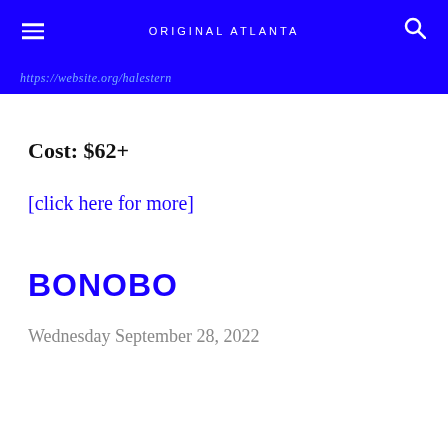ORIGINAL ATLANTA
https://website.org/halestern
Cost: $62+
[click here for more]
BONOBO
Wednesday September 28, 2022